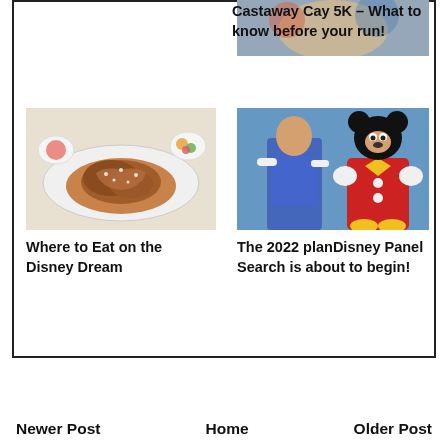[Figure (photo): Partial photo clipped at top right corner, Disney-themed]
Castaway Cay 5K – What to know before your run!
[Figure (photo): Plate of Mickey-shaped French toast with fruit on the side on a white plate]
[Figure (photo): Woman in blue dress posing with Mickey Mouse character in front of a blue backdrop]
Where to Eat on the Disney Dream
The 2022 planDisney Panel Search is about to begin!
Newer Post   Home   Older Post